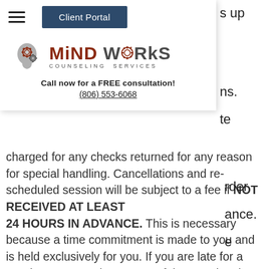[Figure (screenshot): MindWorks Counseling Services website dropdown navigation with hamburger menu, Client Portal button, logo, and phone number]
s up
ns.
te
rder
ance.
e
charged for any checks returned for any reason for special handling. Cancellations and re-scheduled session will be subject to a fee if NOT RECEIVED AT LEAST 24 HOURS IN ADVANCE. This is necessary because a time commitment is made to you and is held exclusively for you. If you are late for a session, you may lose some of that session time.